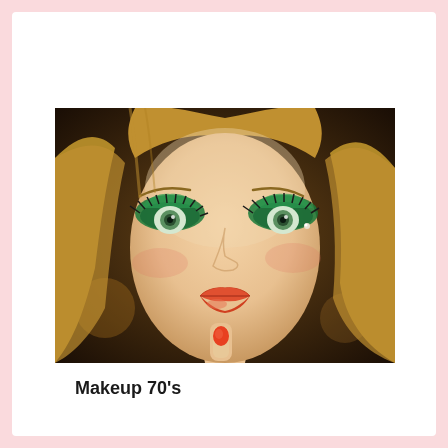[Figure (photo): Close-up photo of a woman with 70s-style makeup: bold green eyeshadow on both eyes, red-orange lips, and matching orange nail polish on a finger held near her lips. She has light green eyes, long lashes, and blonde wavy hair. Background is warm dark amber/brown tones.]
Makeup 70's